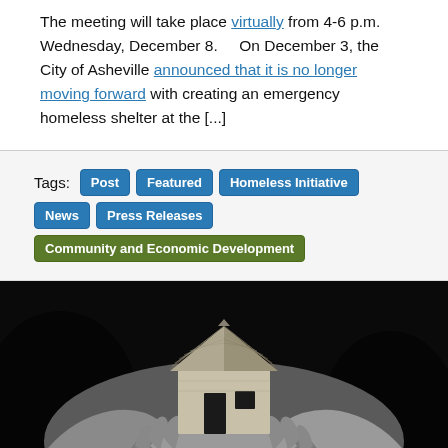The meeting will take place virtually from 4-6 p.m. Wednesday, December 8.    On December 3, the City of Asheville announced that it is no longer moving forward with creating an emergency homeless shelter at the [...]
Tags: Post  Featured  Homeless Initiative  News  Press Releases  Community and Economic Development
[Figure (photo): Black and white photograph of multiple hands cupping a small cardboard model house, symbolizing community support for housing/homeless initiatives.]